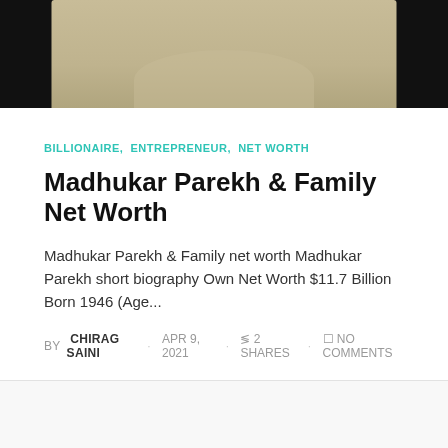[Figure (photo): Partial photo of a person wearing a light beige/cream colored t-shirt against a dark/black background, cropped to show torso area only.]
BILLIONAIRE,  ENTREPRENEUR,  NET WORTH
Madhukar Parekh & Family Net Worth
Madhukar Parekh & Family net worth Madhukar Parekh short biography Own Net Worth $11.7 Billion Born 1946 (Age...
BY  CHIRAG SAINI  ·  APR 9, 2021  ·  2 SHARES  ·  NO COMMENTS